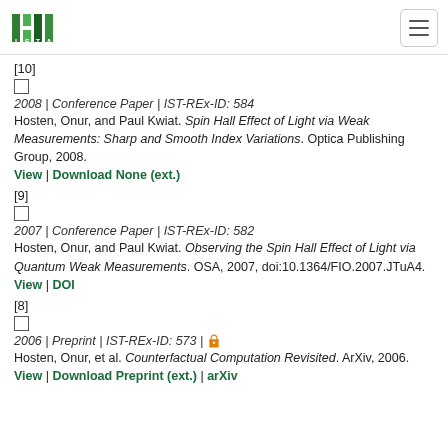ISTA logo and navigation
[10]
2008 | Conference Paper | IST-REx-ID: 584
Hosten, Onur, and Paul Kwiat. Spin Hall Effect of Light via Weak Measurements: Sharp and Smooth Index Variations. Optica Publishing Group, 2008.
View | Download None (ext.)
[9]
2007 | Conference Paper | IST-REx-ID: 582
Hosten, Onur, and Paul Kwiat. Observing the Spin Hall Effect of Light via Quantum Weak Measurements. OSA, 2007, doi:10.1364/FIO.2007.JTuA4.
View | DOI
[8]
2006 | Preprint | IST-REx-ID: 573 | [open access icon]
Hosten, Onur, et al. Counterfactual Computation Revisited. ArXiv, 2006.
View | Download Preprint (ext.) | arXiv